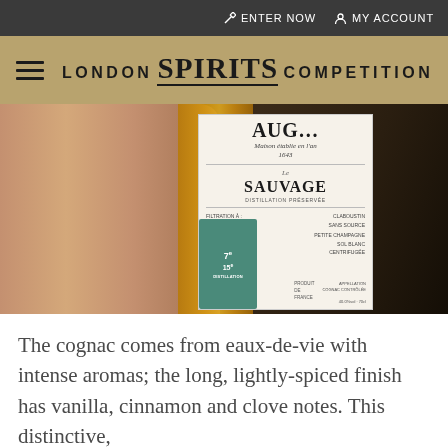ENTER NOW  MY ACCOUNT
LONDON SPIRITS COMPETITION
[Figure (photo): A hand holding a bottle of Augier Le Sauvage cognac, showing the label with text: Maison établie en l'an 1643, Sauvage, Distillation Préservée, Filtration à: Claboustin, Température: Sans Source, Cru: Petite Champagne, Cépage: Sol Blanc, Lies Fines: Centrifugée, Produit de France, 70cl]
The cognac comes from eaux-de-vie with intense aromas; the long, lightly-spiced finish has vanilla, cinnamon and clove notes. This distinctive,